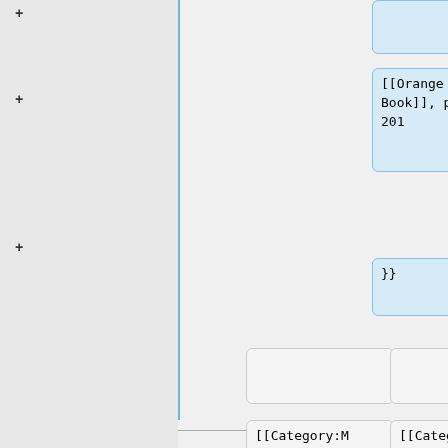[Figure (screenshot): Wikipedia diff view showing code blocks. Blue highlighted boxes (added lines) contain: [[Orange Book]], p. 201 and }}. Gray boxes contain [[Category:M/z Separation]] (two instances). Yellow highlighted boxes (removed lines) contain [[Category:Orange Book term]] and {{DEFAULTSORT:Nier-Johnson Geometry}}. Plus and minus markers indicate additions and removals.]